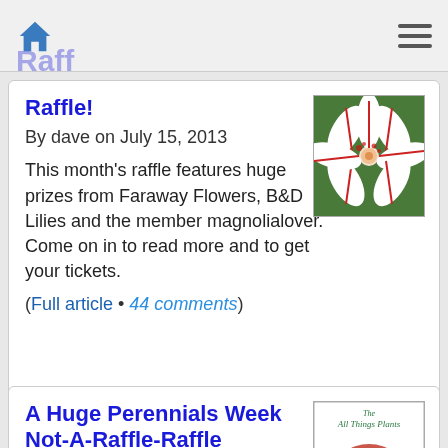Navigation bar with home icon and hamburger menu
Raffle!
By dave on July 15, 2013
This month's raffle features huge prizes from Faraway Flowers, B&D Lilies and the member magnolialover. Come on in to read more and to get your tickets.
(Full article • 44 comments)
[Figure (photo): Close-up photo of a red and white lily flower]
A Huge Perennials Week Not-A-Raffle-Raffle
By dave on June 17, 2013
Our biggest raffle ever! Eight different companies have
[Figure (photo): The All Things Plants Not a Raffle Raffle promotional image with red ticket roll]